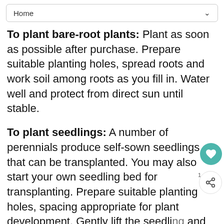Home
To plant bare-root plants: Plant as soon as possible after purchase. Prepare suitable planting holes, spread roots and work soil among roots as you fill in. Water well and protect from direct sun until stable.
To plant seedlings: A number of perennials produce self-sown seedlings that can be transplanted. You may also start your own seedling bed for transplanting. Prepare suitable planting holes, spacing appropriate for plant development. Gently lift the seedling and as much surrounding soil as possible with your garden trowel, and replant it in, firming soil with fingertips and water well.